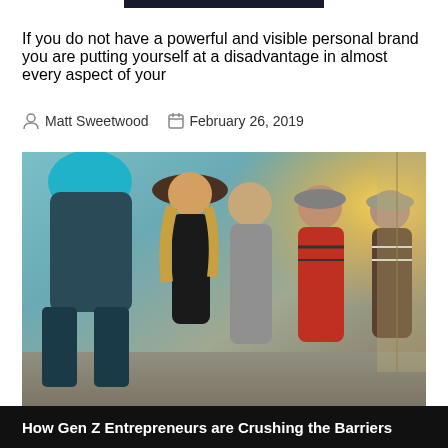If you do not have a powerful and visible personal brand you are putting yourself at a disadvantage in almost every aspect of your
Matt Sweetwood   February 26, 2019
[Figure (photo): Group of five young people standing outdoors, smiling and interacting. One person on the left wears a teal beanie and dark jacket, seen from behind. Others include a woman with a wide-brimmed hat and blonde hair, a man in a grey hoodie, a man in a red striped jacket, and a man in a cap. Background has warm golden backlight.]
How Gen Z Entrepreneurs are Crushing the Barriers